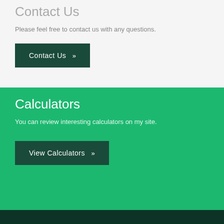Contact Us
Please feel free to contact us with any questions.
Contact Us »
Calculators
You can review interesting calculators on my site.
View Calculators »